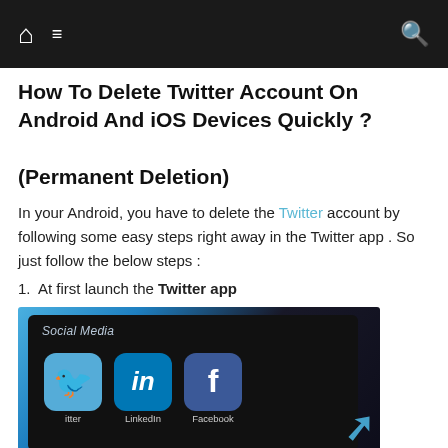Navigation bar with home, menu, and search icons
How To Delete Twitter Account On Android And iOS Devices Quickly ? (Permanent Deletion)
In your Android, you have to delete the Twitter account by following some easy steps right away in the Twitter app . So just follow the below steps :
1.  At first launch the Twitter app
[Figure (photo): Smartphone screen showing social media app icons: Twitter, LinkedIn, and Facebook, with label 'Social Media']